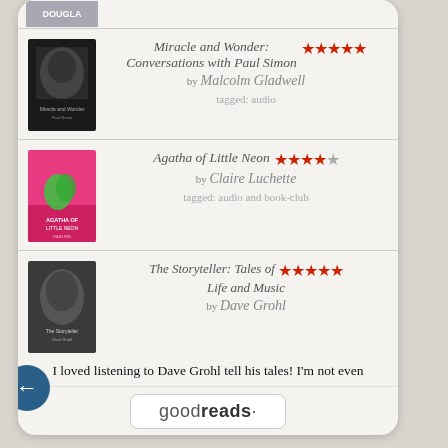[Figure (screenshot): Goodreads book list app screen showing three book entries with ratings and reviews, plus navigation arrows and goodreads logo at bottom]
Miracle and Wonder: Conversations with Paul Simon by Malcolm Gladwell ★★★★★ tagged: audio
Agatha of Little Neon by Claire Luchette ★★★★☆ tagged: audio and book-club
The Storyteller: Tales of Life and Music by Dave Grohl ★★★★★ I loved listening to Dave Grohl tell his tales! I'm not even particularly a fan of any of the bands he's been in, but he loves The Beatles... and that's pretty much where my love of music began, too. And he loves his family. And he's not... tagged: audio